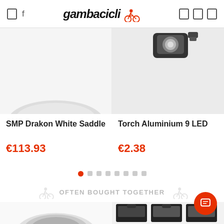gambacicli
[Figure (photo): Partial view of an SMP Drakon White Saddle product image (bottom portion visible)]
[Figure (photo): Torch Aluminium 9 LED product image showing a small cycling light/torch]
SMP Drakon White Saddle
Torch Aluminium 9 LED
€113.93
€2.38
[Figure (other): Carousel pagination dots — 8 dots, first one active (orange filled circle), rest grey rounded squares]
OFTEN BOUGHT TOGETHER
[Figure (photo): Bottom portion of a saddle product image (white/silver cycling saddle)]
[Figure (photo): Three small packaged accessory products shown side by side]